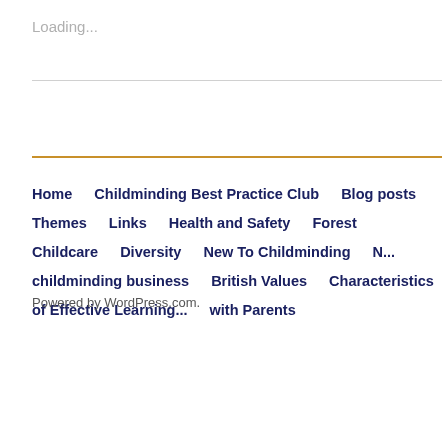Loading...
Home    Childminding Best Practice Club    Blog posts    Themes    Links    Health and Safety    Forest Childcare    Diversity    New To Childminding    N... childminding business    British Values    Characteristics of Effective Learning...    with Parents
Powered by WordPress.com.